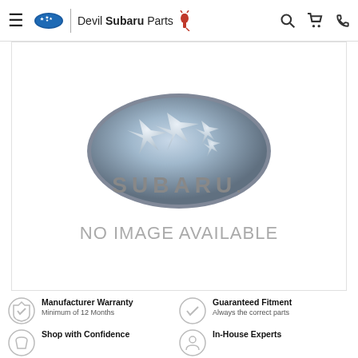Devil Subaru Parts
[Figure (logo): Subaru oval logo with silver star design and 'SUBARU.' text below, with 'NO IMAGE AVAILABLE' text beneath]
Manufacturer Warranty
Minimum of 12 Months
Guaranteed Fitment
Always the correct parts
Shop with Confidence
In-House Experts